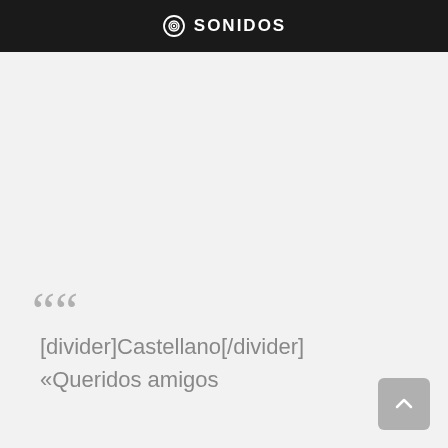SONIDOS
« [divider]Castellano[/divider]
«Queridos amigos